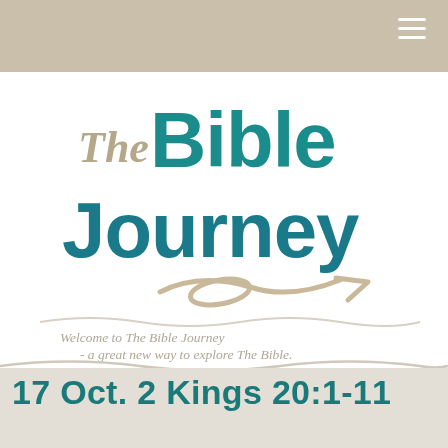[Figure (logo): The Bible Journey logo with teal bold text 'Bible Journey', tan casual text 'The', and a tan arrow swoosh beneath]
Welcome to The Bible Journey - a great new way to explore The Bible.
17 Oct. 2 Kings 20:1-11